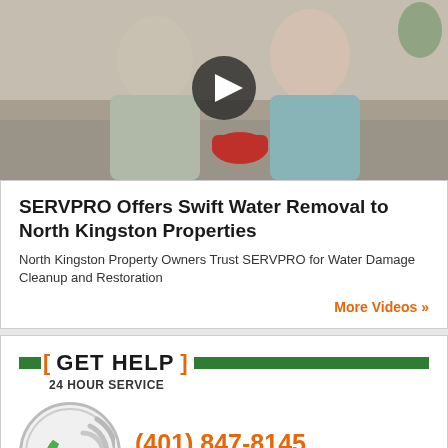[Figure (screenshot): Video thumbnail showing a man and woman on a couch looking distressed, with a play button overlay in the center]
SERVPRO Offers Swift Water Removal to North Kingston Properties
North Kingston Property Owners Trust SERVPRO for Water Damage Cleanup and Restoration
More Videos »
[ GET HELP ] 24 HOUR SERVICE
(401) 847-8145 CALL NOW